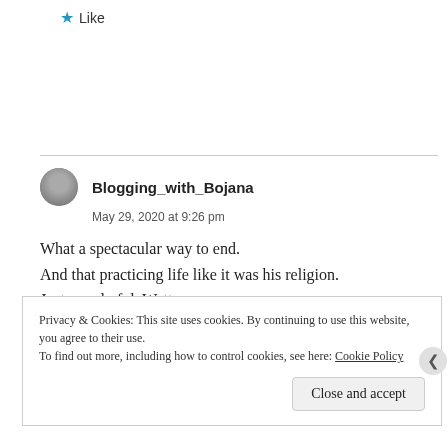★ Like
[Figure (photo): Commenter avatar photo - circular profile image of Blogging_with_Bojana]
Blogging_with_Bojana
May 29, 2020 at 9:26 pm
What a spectacular way to end.
And that practicing life like it was his religion.
Just wonderful, Watt.
Privacy & Cookies: This site uses cookies. By continuing to use this website, you agree to their use.
To find out more, including how to control cookies, see here: Cookie Policy
Close and accept